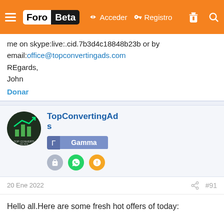Foro Beta — Acceder — Registro
me on skype:live:.cid.7b3d4c18848b23b or by email:office@topconvertingads.com
REgards,
John
Donar
TopConvertingAds
Gamma
20 Ene 2022
#91
Hello all.Here are some fresh hot offers of today:
For DEsktop: